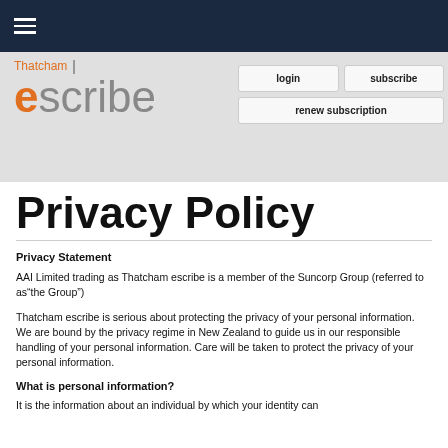Thatcham escribe — navigation bar with hamburger menu, login, subscribe, renew subscription buttons
[Figure (logo): Thatcham escribe logo: orange 'Thatcham' text above large 'escribe' with orange 'e' and grey 'scribe']
Privacy Policy
Privacy Statement
AAI Limited trading as Thatcham escribe is a member of the Suncorp Group (referred to as“the Group”)
Thatcham escribe is serious about protecting the privacy of your personal information. We are bound by the privacy regime in New Zealand to guide us in our responsible handling of your personal information. Care will be taken to protect the privacy of your personal information.
What is personal information?
It is the information about an individual by which your identity can